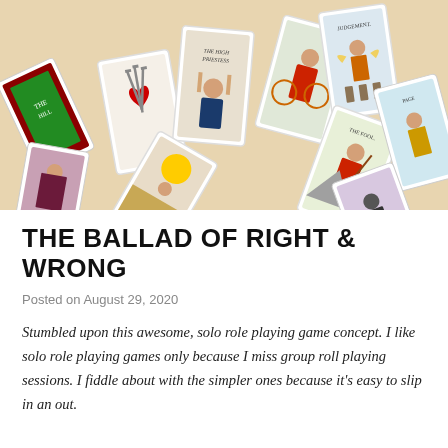[Figure (photo): A spread of colorful Tarot cards scattered on a surface, showing cards including The High Priestess, The Fool, Judgement, and others with illustrated figures in medieval style artwork.]
THE BALLAD OF RIGHT & WRONG
Posted on August 29, 2020
Stumbled upon this awesome, solo role playing game concept. I like solo role playing games only because I miss group roll playing sessions. I fiddle about with the simpler ones because it's easy to slip in an out.